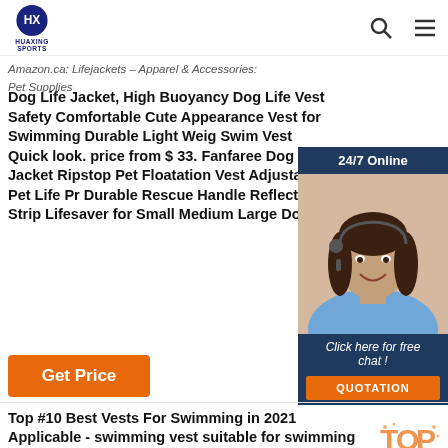HUAXING SPORTS
Amazon.ca: Lifejackets - Apparel & Accessories: Pet Supplies
Dog Life Jacket, High Buoyancy Dog Life Vest Safety Comfortable Cute Appearance Vest for Swimming Durable Light Weight Swim Vest Quick look. price from $ 33. Fanfaree Dog Life Jacket Ripstop Pet Floatation Vest Adjustable Pet Life Pr Durable Rescue Handle Reflective Strip Lifesaver for Small Medium Large Dogs
[Figure (photo): Customer service representative woman with headset smiling, in a chat widget with dark blue background, showing '24/7 Online', 'Click here for free chat!', and 'QUOTATION' button]
Get Price
Top #10 Best Vests For Swimming in 2021 Applicable - swimming vest suitable for swimming pools,beaches,surfing,diving etc.. Satisfaction guarantee - if you are not satisfied with our goods, we guarantee 100% return or refund.. Safe & comfortable - made of high quality neoprene